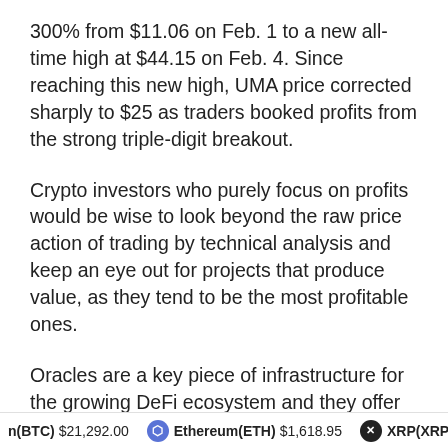300% from $11.06 on Feb. 1 to a new all-time high at $44.15 on Feb. 4. Since reaching this new high, UMA price corrected sharply to $25 as traders booked profits from the strong triple-digit breakout.
Crypto investors who purely focus on profits would be wise to look beyond the raw price action of trading by technical analysis and keep an eye out for projects that produce value, as they tend to be the most profitable ones.
Oracles are a key piece of infrastructure for the growing DeFi ecosystem and they offer added value through their staking, governance, liquidity pools potential to bring interoperability to siloed blockchain networks.
n(BTC) $21,292.00   Ethereum(ETH) $1,618.95   XRP(XRP) $